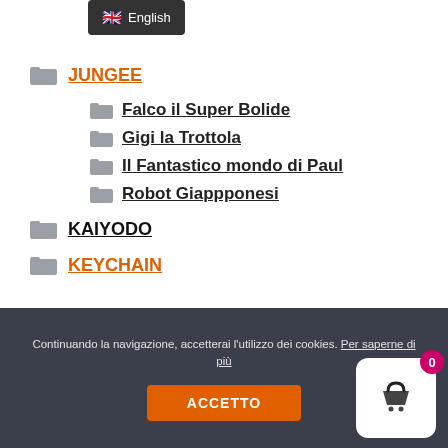English
JUNGEE
Falco il Super Bolide
Gigi la Trottola
Il Fantastico mondo di Paul
Robot Giappponesi
KAIYODO
KEYCHAIN
Continuando la navigazione, accetterai l'utilizzo dei cookies. Per saperne di più ACCETTO